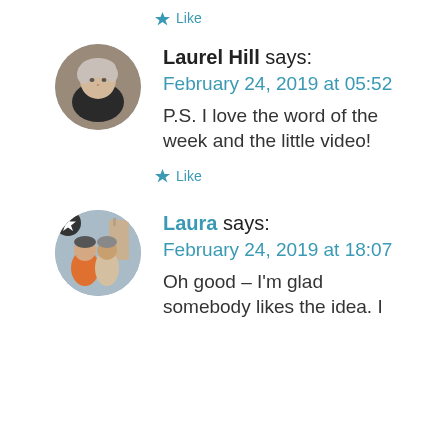★ Like
Laurel Hill says:
February 24, 2019 at 05:52
P.S. I love the word of the week and the little video!
★ Like
Laura says:
February 24, 2019 at 18:07
Oh good – I'm glad somebody likes the idea. I